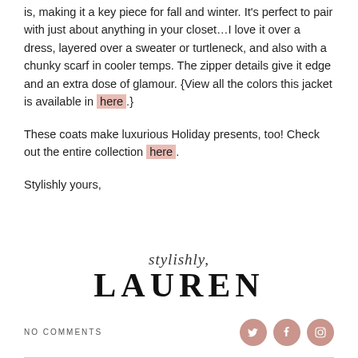is, making it a key piece for fall and winter. It's perfect to pair with just about anything in your closet…I love it over a dress, layered over a sweater or turtleneck, and also with a chunky scarf in cooler temps. The zipper details give it edge and an extra dose of glamour. {View all the colors this jacket is available in here.}
These coats make luxurious Holiday presents, too! Check out the entire collection here.
Stylishly yours,
[Figure (logo): Stylishly, LAUREN signature logo in serif font]
NO COMMENTS